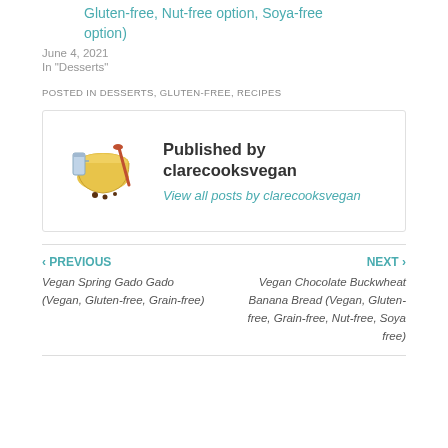Gluten-free, Nut-free option, Soya-free option)
June 4, 2021
In "Desserts"
POSTED IN DESSERTS, GLUTEN-FREE, RECIPES
Published by clarecooksvegan
View all posts by clarecooksvegan
‹ PREVIOUS
Vegan Spring Gado Gado (Vegan, Gluten-free, Grain-free)
NEXT ›
Vegan Chocolate Buckwheat Banana Bread (Vegan, Gluten-free, Grain-free, Nut-free, Soya free)